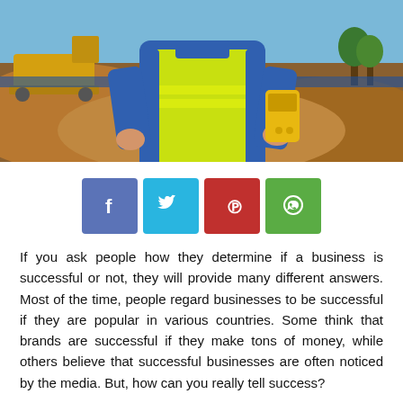[Figure (photo): Construction worker in blue jacket and hi-vis yellow vest holding a yellow device, standing in front of soil mounds and excavation equipment]
[Figure (infographic): Social media share buttons: Facebook (blue), Twitter (light blue), Pinterest (red), WhatsApp (green)]
If you ask people how they determine if a business is successful or not, they will provide many different answers. Most of the time, people regard businesses to be successful if they are popular in various countries. Some think that brands are successful if they make tons of money, while others believe that successful businesses are often noticed by the media. But, how can you really tell success?